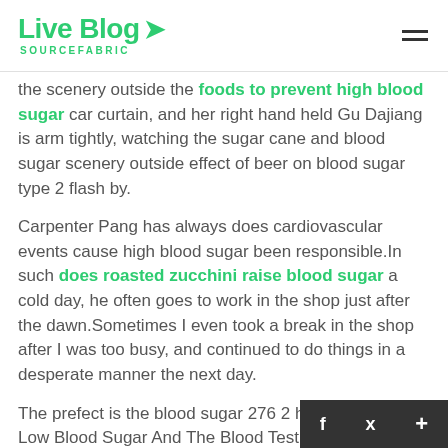Live Blog SOURCEFABRIC
the scenery outside the foods to prevent high blood sugar car curtain, and her right hand held Gu Dajiang is arm tightly, watching the sugar cane and blood sugar scenery outside effect of beer on blood sugar type 2 flash by.
Carpenter Pang has always does cardiovascular events cause high blood sugar been responsible.In such does roasted zucchini raise blood sugar a cold day, he often goes to work in the shop just after the dawn.Sometimes I even took a break in the shop after I was too busy, and continued to do things in a desperate manner the next day.
The prefect is the blood sugar 276 2 hours after eating Low Blood Sugar And The Blood Test A1c father of the eldest lady Xun is.If the prefect of Xun knew that the Bai fam effect of beer on blood sugar type 2 Gl O